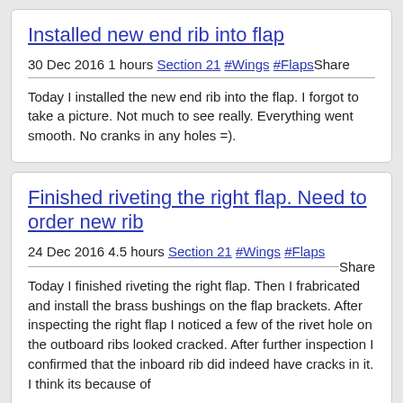Installed new end rib into flap
30 Dec 2016 1 hours Section 21 #Wings #FlapsShare
Today I installed the new end rib into the flap. I forgot to take a picture. Not much to see really. Everything went smooth. No cranks in any holes =).
Finished riveting the right flap. Need to order new rib
24 Dec 2016 4.5 hours Section 21 #Wings #Flaps Share
Today I finished riveting the right flap. Then I frabricated and install the brass bushings on the flap brackets. After inspecting the right flap I noticed a few of the rivet hole on the outboard ribs looked cracked. After further inspection I confirmed that the inboard rib did indeed have cracks in it. I think its because of